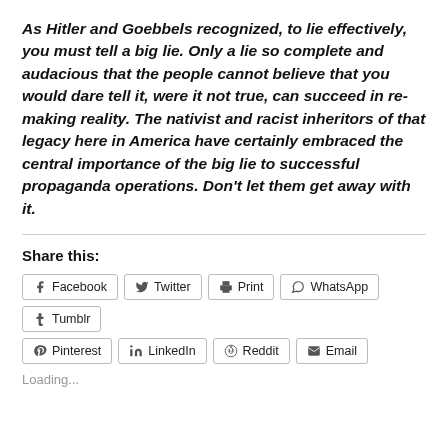As Hitler and Goebbels recognized, to lie effectively, you must tell a big lie. Only a lie so complete and audacious that the people cannot believe that you would dare tell it, were it not true, can succeed in re-making reality. The nativist and racist inheritors of that legacy here in America have certainly embraced the central importance of the big lie to successful propaganda operations. Don't let them get away with it.
Share this:
Facebook Twitter Print WhatsApp Tumblr Pinterest LinkedIn Reddit Email
Loading...